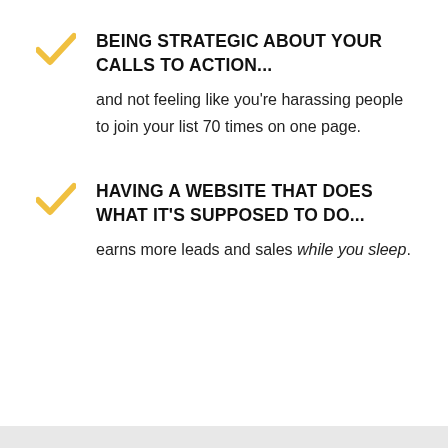BEING STRATEGIC ABOUT YOUR CALLS TO ACTION... and not feeling like you're harassing people to join your list 70 times on one page.
HAVING A WEBSITE THAT DOES WHAT IT'S SUPPOSED TO DO... earns more leads and sales while you sleep.